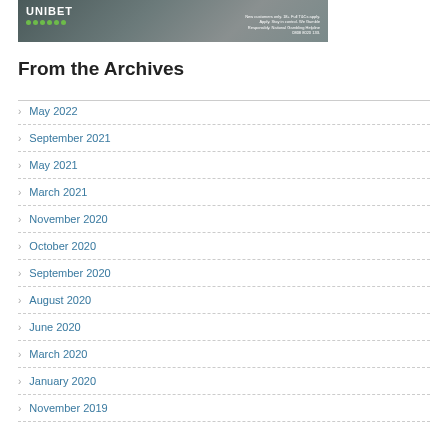[Figure (screenshot): Unibet betting advertisement banner with dark grey background, white UNIBET logo text, green dots below logo, and small white text on right side with responsible gambling message.]
From the Archives
May 2022
September 2021
May 2021
March 2021
November 2020
October 2020
September 2020
August 2020
June 2020
March 2020
January 2020
November 2019